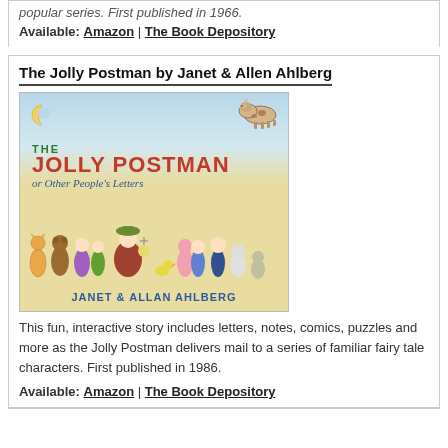popular series. First published in 1966.
Available: Amazon | The Book Depository
The Jolly Postman by Janet & Allen Ahlberg
[Figure (illustration): Book cover of The Jolly Postman or Other People's Letters by Janet & Allan Ahlberg, featuring illustrated fairy tale characters and the postman on a cream/yellow background with blue sky.]
This fun, interactive story includes letters, notes, comics, puzzles and more as the Jolly Postman delivers mail to a series of familiar fairy tale characters. First published in 1986.
Available: Amazon | The Book Depository